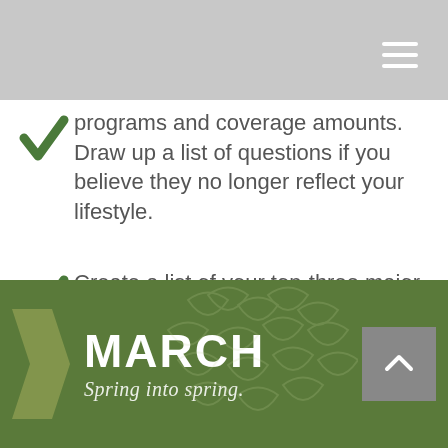programs and coverage amounts. Draw up a list of questions if you believe they no longer reflect your lifestyle.
Create a list of your top-three major expenses scheduled for the year.
Take a minute and create a list of your monthly subscription services.
[Figure (infographic): MARCH Spring into spring. Green banner with arrow and up button.]